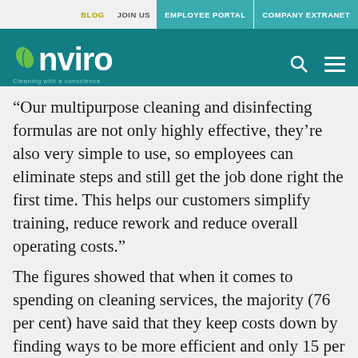BLOG  JOIN US  EMPLOYEE PORTAL  COMPANY EXTRANET
[Figure (logo): Nviro logo with green leaf and tagline 'Cleaning with a conscience' on teal background, with search and menu icons]
“Our multipurpose cleaning and disinfecting formulas are not only highly effective, they’re also very simple to use, so employees can eliminate steps and still get the job done right the first time. This helps our customers simplify training, reduce rework and reduce overall operating costs.”
The figures showed that when it comes to spending on cleaning services, the majority (76 per cent) have said that they keep costs down by finding ways to be more efficient and only 15 per cent say that they would prefer to raise prices for